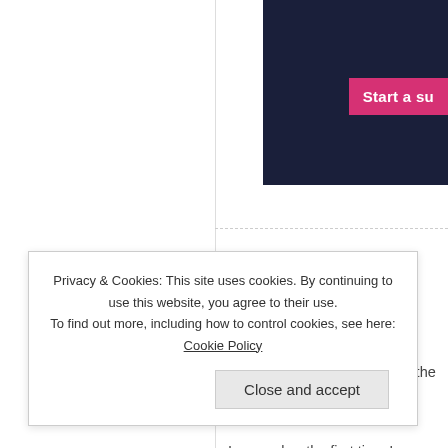[Figure (other): Dark navy blue banner in top right corner with pink 'Start a su...' button]
MAY 13 2014
3 COMMENTS
UNCATEGORIZED
THE C WORD
Do I even need to pre-warn anyone? DO Because, well, it's ALL about the C word. attempted "modesty".
I remember the first time I ever heard it. quiet court that I used to live in. All the ki
Privacy & Cookies: This site uses cookies. By continuing to use this website, you agree to their use.
To find out more, including how to control cookies, see here: Cookie Policy
Close and accept